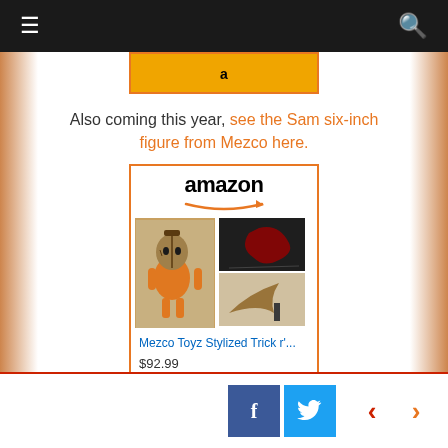Navigation bar with hamburger menu and search icon
[Figure (screenshot): Partial Amazon ad stub showing golden bar at top]
Also coming this year, see the Sam six-inch figure from Mezco here.
[Figure (screenshot): Amazon ad card showing Mezco Toyz Stylized Trick r Treat Sam figure priced at $92.99 with Shop now button]
Social sharing buttons: Facebook, Twitter, and navigation arrows